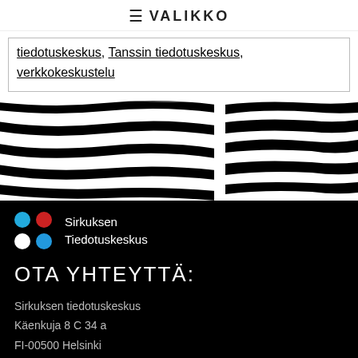≡ VALIKKO
tiedotuskeskus, Tanssin tiedotuskeskus, verkkokeskustelu
[Figure (illustration): Black and white zebra stripe pattern, two panels side by side]
[Figure (logo): Sirkuksen Tiedotuskeskus logo with colored dots grid (blue, red, white, light blue) and text]
OTA YHTEYTTÄ:
Sirkuksen tiedotuskeskus
Käenkuja 8 C 34 a
FI-00500 Helsinki